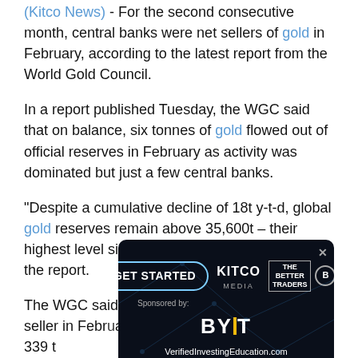(Kitco News) - For the second consecutive month, central banks were net sellers of gold in February, according to the latest report from the World Gold Council.
In a report published Tuesday, the WGC said that on balance, six tonnes of gold flowed out of official reserves in February as activity was dominated but just a few central banks.
"Despite a cumulative decline of 18t y-t-d, global gold reserves remain above 35,600t – their highest level since 1990," the analysts said in the report.
The WGC said that Uzbekistan was the largest seller in February, reducing its reserves by 11 tonnes to 339 t... [truncated by advertisement overlay] ...of the central bank's reserves.
[Figure (advertisement): Advertisement overlay: GET STARTED button, Kitco Media logo, The Better Traders logo, V logo. Sponsored by BYBIT with VerifiedInvestingEducation.com URL. Dark blue background with decorative network lines.]